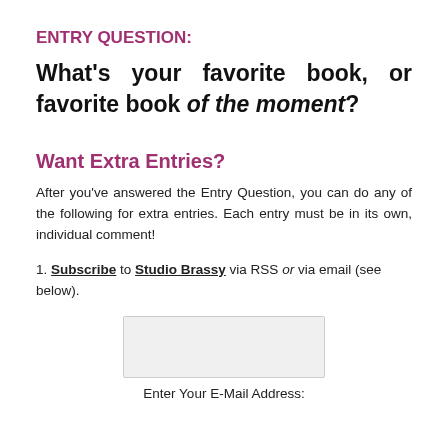ENTRY QUESTION:
What's your favorite book, or favorite book of the moment?
Want Extra Entries?
After you've answered the Entry Question, you can do any of the following for extra entries. Each entry must be in its own, individual comment!
1. Subscribe to Studio Brassy via RSS or via email (see below).
[Figure (other): Email subscription input box]
Enter Your E-Mail Address: